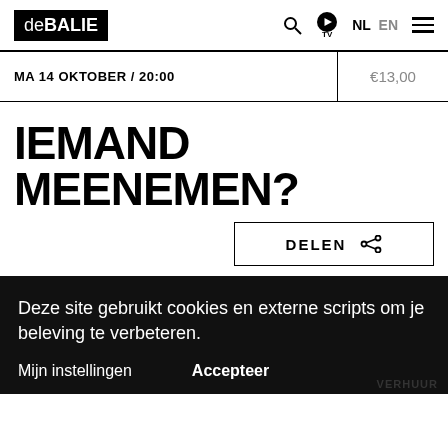deBALIE — navigation bar with logo, search, TV, NL, EN, menu
MA 14 OKTOBER / 20:00 — €13,00
IEMAND MEENEMEN?
DELEN
Deze site gebruikt cookies en externe scripts om je beleving te verbeteren.
Mijn instellingen   Accepteer